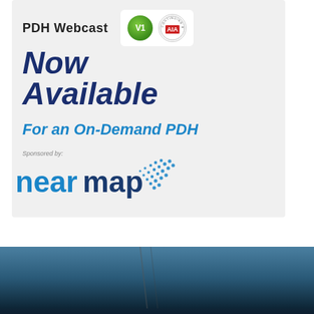PDH Webcast
[Figure (logo): V1 green circle logo and AIA Continuing Education circular badge]
Now Available
For an On-Demand PDH
Sponsored by:
[Figure (logo): Nearmap logo with blue dot-pattern arrow graphic]
[Figure (photo): Aerial photo of Seattle-Tacoma International Airport with white text overlay reading SEATTLE-TACOMA INTERNATIONAL]